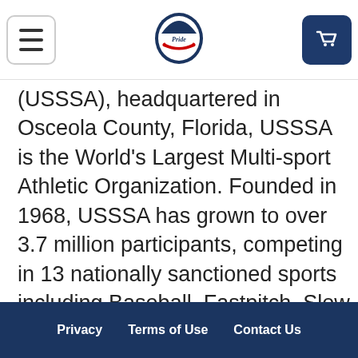[hamburger menu] [USSSA Pride logo] [cart button]
(USSSA), headquartered in Osceola County, Florida, USSSA is the World's Largest Multi-sport Athletic Organization. Founded in 1968, USSSA has grown to over 3.7 million participants, competing in 13 nationally sanctioned sports including Baseball, Fastpitch, Slow Pitch, Karate, Basketball, Soccer and more! For more information on USSSA and to register your team visit USSSA.com. Also be sure to visit USSSAToday.com for the latest USSSA News!
Privacy   Terms of Use   Contact Us